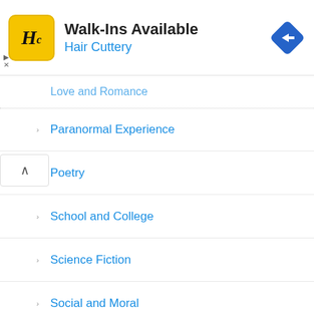[Figure (other): Hair Cuttery advertisement banner with logo, 'Walk-Ins Available' headline, business name, and navigation arrow icon]
Love and Romance
Paranormal Experience
Poetry
School and College
Science Fiction
Social and Moral
Suspense and Thriller
Travel (partially visible)